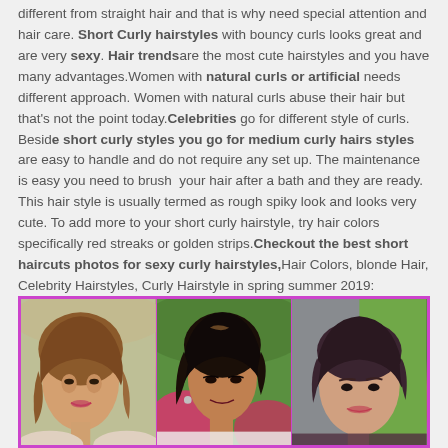different from straight hair and that is why need special attention and hair care. Short Curly hairstyles with bouncy curls looks great and are very sexy. Hair trendsare the most cute hairstyles and you have many advantages.Women with natural curls or artificial needs different approach. Women with natural curls abuse their hair but that's not the point today.Celebrities go for different style of curls. Beside short curly styles you go for medium curly hairs styles are easy to handle and do not require any set up. The maintenance is easy you need to brush  your hair after a bath and they are ready. This hair style is usually termed as rough spiky look and looks very cute. To add more to your short curly hairstyle, try hair colors specifically red streaks or golden strips.Checkout the best short haircuts photos for sexy curly hairstyles,Hair Colors, blonde Hair, Celebrity Hairstyles, Curly Hairstyle in spring summer 2019:
[Figure (photo): Three side-by-side photos of women with short hairstyles, bordered by a pink/magenta frame. Left: woman with wavy short brown hair. Center: woman with short straight dark brown hair with highlights. Right: woman with very short dark pixie cut.]